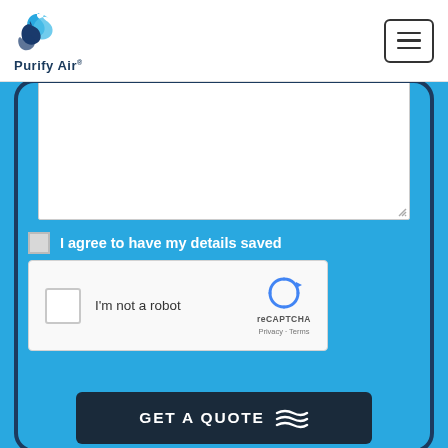[Figure (logo): Purify Air logo with stylized blue wave/leaf icon and text 'Purify Air']
[Figure (screenshot): Mobile form screenshot on blue background showing a text area input, 'I agree to have my details saved' checkbox, reCAPTCHA widget with 'I'm not a robot' text, and 'GET A QUOTE' button at the bottom]